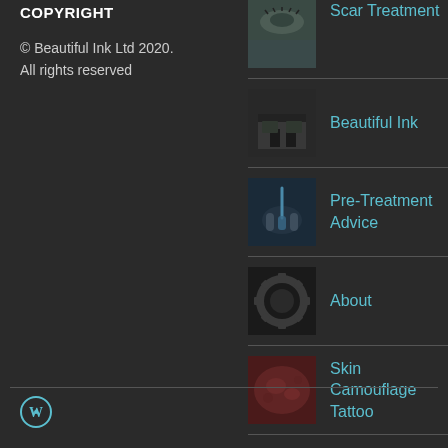COPYRIGHT
© Beautiful Ink Ltd 2020. All rights reserved
Scar Treatment
Beautiful Ink
Pre-Treatment Advice
About
Skin Camouflage Tattoo
WordPress icon